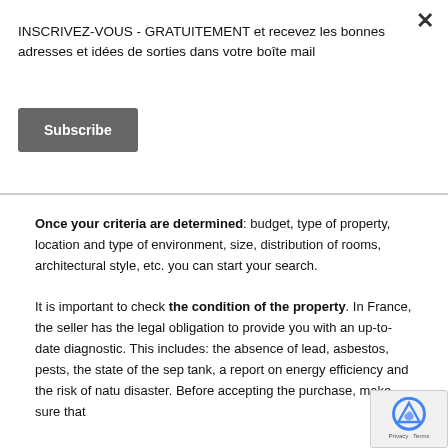INSCRIVEZ-VOUS - GRATUITEMENT et recevez les bonnes adresses et idées de sorties dans votre boîte mail
Subscribe
Once your criteria are determined: budget, type of property, location and type of environment, size, distribution of rooms, architectural style, etc. you can start your search.
It is important to check the condition of the property. In France, the seller has the legal obligation to provide you with an up-to-date diagnostic. This includes: the absence of lead, asbestos, pests, the state of the sep tank, a report on energy efficiency and the risk of natu disaster. Before accepting the purchase, make sure that